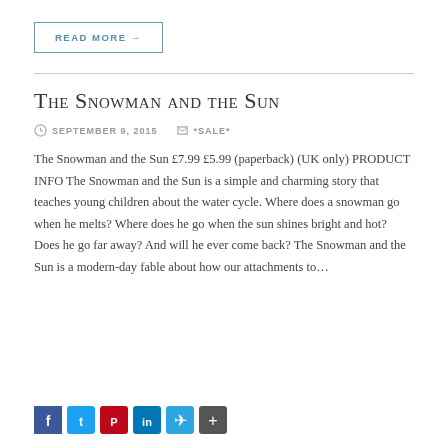READ MORE →
The Snowman and the Sun
SEPTEMBER 9, 2015   *SALE*
The Snowman and the Sun £7.99 £5.99 (paperback) (UK only) PRODUCT INFO The Snowman and the Sun is a simple and charming story that teaches young children about the water cycle. Where does a snowman go when he melts? Where does he go when the sun shines bright and hot? Does he go far away? And will he ever come back? The Snowman and the Sun is a modern-day fable about how our attachments to…
[Figure (infographic): Social sharing icons: Facebook, Twitter, Pinterest, LinkedIn, Telegram, Share]